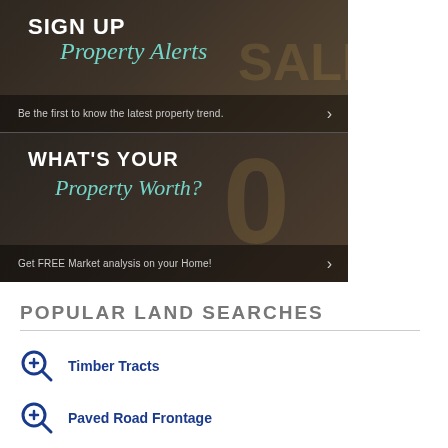[Figure (screenshot): Banner ad with dark background showing 'SIGN UP Property Alerts' with text 'Be the first to know the latest property trend.' and a chevron arrow]
[Figure (screenshot): Banner ad with dark background showing 'WHAT'S YOUR Property Worth?' with text 'Get FREE Market analysis on your Home!' and a chevron arrow]
POPULAR LAND SEARCHES
Timber Tracts
Paved Road Frontage